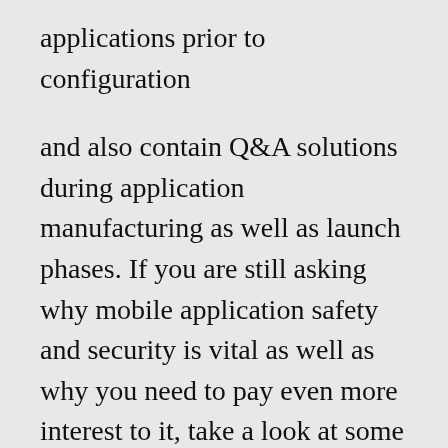applications prior to configuration
and also contain Q&A solutions during application manufacturing as well as launch phases. If you are still asking why mobile application safety and security is vital as well as why you need to pay even more interest to it, take a look at some statistics:. Mobile Application Security: 8 Factors of Negative Influence.
There are also app markets and also various other sites that spread mobile applications without passing mobile application safety certification. The really finest approach to prevent such applications from entering your